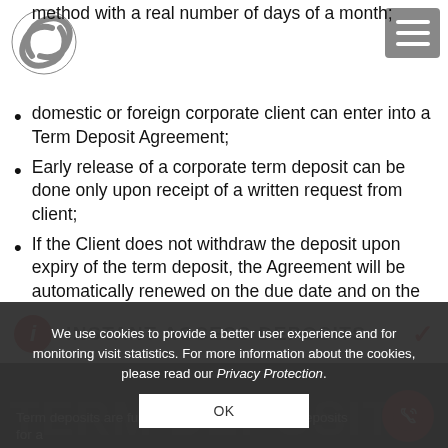[Figure (logo): Bank logo — circular swirl mark in grey/silver]
[Figure (other): Hamburger menu icon (three horizontal lines) in a grey rounded rectangle]
method with a real number of days of a month;
domestic or foreign corporate client can enter into a Term Deposit Agreement;
Early release of a corporate term deposit can be done only upon receipt of a written request from client;
If the Client does not withdraw the deposit upon expiry of the term deposit, the Agreement will be automatically renewed on the due date and on the terms valid on the day of renewal of the deposit.
INSTANT ACCESS DEPOSITS
We use cookies to provide a better user experience and for monitoring visit statistics. For more information about the cookies, please read our Privacy Protection.
OK
TERM DEPOSITS
Term deposits are funds that a corporate client deposits for a